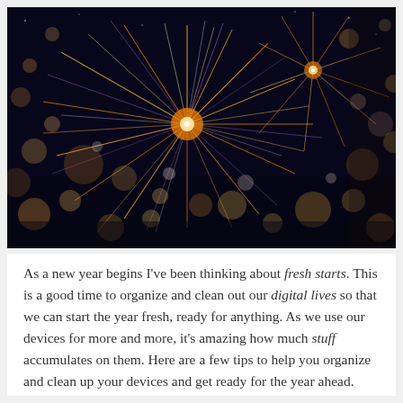[Figure (photo): Close-up photograph of colorful fireworks exploding against a dark night sky, with bokeh light orbs and streaks of light in orange, red, purple, and white colors.]
As a new year begins I've been thinking about fresh starts. This is a good time to organize and clean out our digital lives so that we can start the year fresh, ready for anything. As we use our devices for more and more, it's amazing how much stuff accumulates on them. Here are a few tips to help you organize and clean up your devices and get ready for the year ahead.